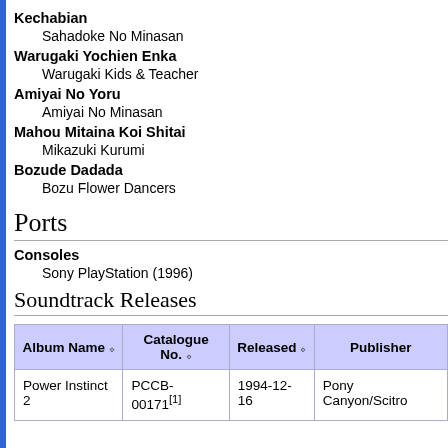Kechabian
    Sahadoke No Minasan
Warugaki Yochien Enka
    Warugaki Kids & Teacher
Amiyai No Yoru
    Amiyai No Minasan
Mahou Mitaina Koi Shitai
    Mikazuki Kurumi
Bozude Dadada
    Bozu Flower Dancers
Ports
Consoles
    Sony PlayStation (1996)
Soundtrack Releases
| Album Name | Catalogue No. | Released | Publisher |
| --- | --- | --- | --- |
| Power Instinct 2 | PCCB-00171[1] | 1994-12-16 | Pony Canyon/Scitro |